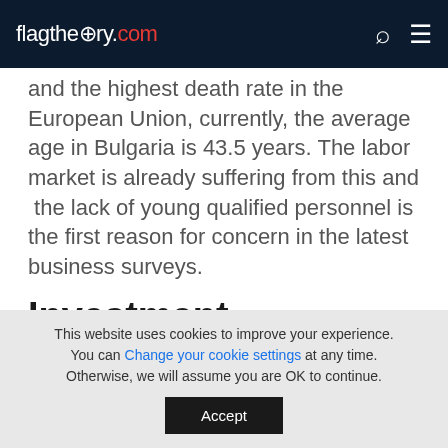flagtheory.com
and the highest death rate in the European Union, currently, the average age in Bulgaria is 43.5 years. The labor market is already suffering from this and  the lack of young qualified personnel is the first reason for concern in the latest business surveys.
Investment Opportunities in
This website uses cookies to improve your experience. You can Change your cookie settings at any time. Otherwise, we will assume you are OK to continue.